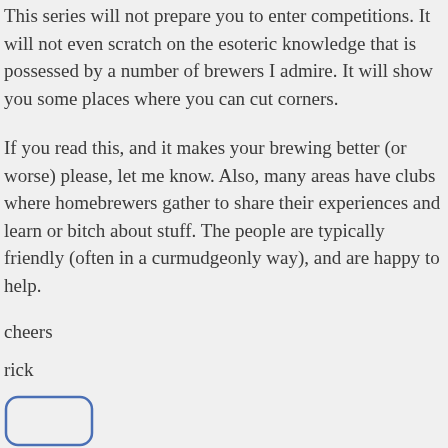This series will not prepare you to enter competitions. It will not even scratch on the esoteric knowledge that is possessed by a number of brewers I admire. It will show you some places where you can cut corners.
If you read this, and it makes your brewing better (or worse) please, let me know. Also, many areas have clubs where homebrewers gather to share their experiences and learn or bitch about stuff. The people are typically friendly (often in a curmudgeonly way), and are happy to help.
cheers
rick
[Figure (illustration): Partial illustration or logo at the bottom left corner, showing a rounded rectangular shape outline in blue, partially visible.]